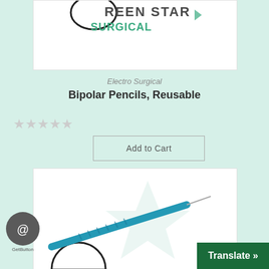[Figure (photo): Top portion of a product card showing the Green Star Surgical logo on a white background, partially cropped at the top]
Electro Surgical
Bipolar Pencils, Reusable
[Figure (other): Five grey star rating icons (empty/unrated stars)]
[Figure (other): Add to Cart button — rectangular outlined button]
[Figure (photo): Bottom product card showing a blue surgical bipolar pencil/instrument with a needle tip, overlaid on a white background with a faint Green Star Surgical watermark logo]
[Figure (logo): GetButton contact widget — dark grey circle with @ symbol, labeled 'GetButton']
[Figure (other): Translate button — dark green rectangle with white bold text 'Translate »' at bottom right corner]